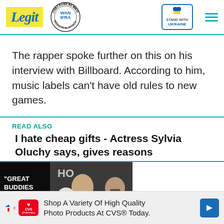Legit | WAN-IFRA 2021 Best News Website in Africa | Stand with Ukraine
The rapper spoke further on this on his interview with Billboard. According to him, music labels can’t have old rules to new games.
READ ALSO
I hate cheap gifts - Actress Sylvia Oluchy says, gives reasons
[Figure (photo): Video thumbnail showing two people at an event with text overlay reading GREAT BUDDIES WITH HER EX, with a play button overlay and a red down arrow button]
Shop A Variety Of High Quality Photo Products At CVS® Today.